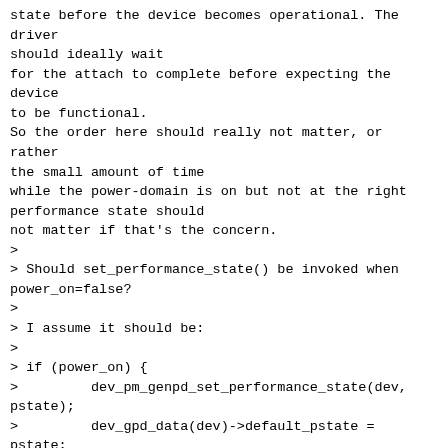state before the device becomes operational. The driver should ideally wait
for the attach to complete before expecting the device to be functional.
So the order here should really not matter, or rather the small amount of time
while the power-domain is on but not at the right performance state should
not matter if that's the concern.
>
> Should set_performance_state() be invoked when power_on=false?
>
> I assume it should be:
>
> if (power_on) {
>         dev_pm_genpd_set_performance_state(dev, pstate);
>         dev_gpd_data(dev)->default_pstate = pstate;
> } else {
>         dev_gpd_data(dev)->rpm_pstate = pstate;
> }
>
--
QUALCOMM INDIA, on behalf of Qualcomm Innovation Center, Inc. is a member
of Code Aurora Forum, hosted by The Linux Foundation